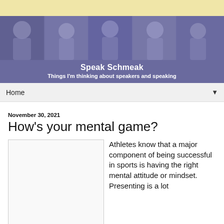[Figure (photo): Top decorative golden/yellow bar]
[Figure (photo): Header banner showing collage of people presenting/speaking, with purple/blue overlay tint]
Speak Schmeak
Things I'm thinking about speakers and speaking
Home ▼
November 30, 2021
How's your mental game?
[Figure (photo): Placeholder image box (white/light gray rectangle with border)]
Athletes know that a major component of being successful in sports is having the right mental attitude or mindset. Presenting is a lot